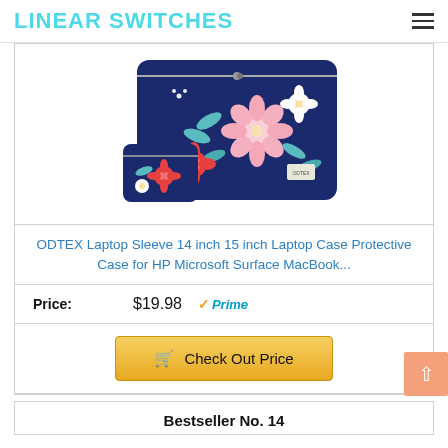LINEAR SWITCHES
[Figure (photo): ODTEX navy blue floral laptop sleeve and matching small pouch, both with pink and white flower pattern on dark blue background]
ODTEX Laptop Sleeve 14 inch 15 inch Laptop Case Protective Case for HP Microsoft Surface MacBook...
Price: $19.98 ✓Prime
🛒 Check Out Price
Bestseller No. 14